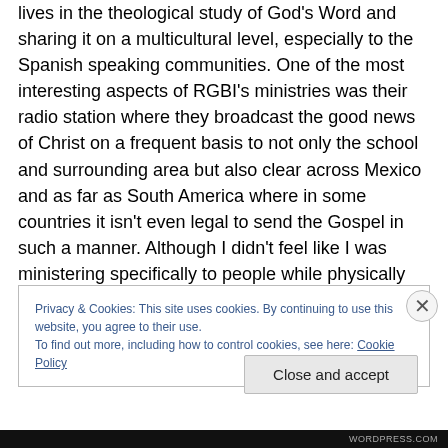lives in the theological study of God's Word and sharing it on a multicultural level, especially to the Spanish speaking communities. One of the most interesting aspects of RGBI's ministries was their radio station where they broadcast the good news of Christ on a frequent basis to not only the school and surrounding area but also clear across Mexico and as far as South America where in some countries it isn't even legal to send the Gospel in such a manner. Although I didn't feel like I was ministering specifically to people while physically there. I know the work we did will speak greatly to the students who
Privacy & Cookies: This site uses cookies. By continuing to use this website, you agree to their use. To find out more, including how to control cookies, see here: Cookie Policy
Close and accept